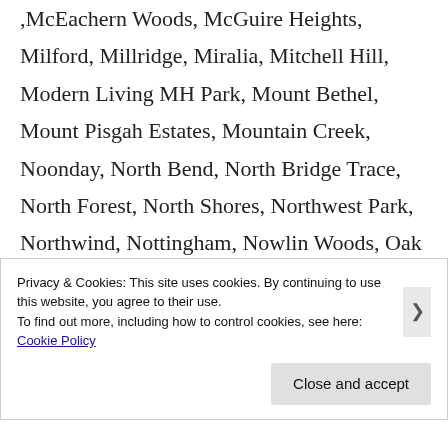,McEachern Woods, McGuire Heights, Milford, Millridge, Miralia, Mitchell Hill, Modern Living MH Park, Mount Bethel, Mount Pisgah Estates, Mountain Creek, Noonday, North Bend, North Bridge Trace, North Forest, North Shores, Northwest Park, Northwind, Nottingham, Nowlin Woods, Oak Chase, Oak Creek
Privacy & Cookies: This site uses cookies. By continuing to use this website, you agree to their use. To find out more, including how to control cookies, see here: Cookie Policy
Close and accept